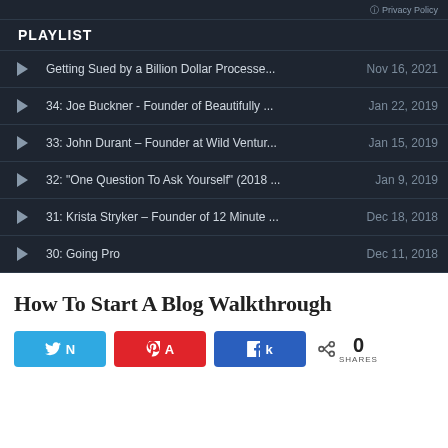Privacy Policy
PLAYLIST
Getting Sued by a Billion Dollar Processe... Nov 16, 2021
34: Joe Buckner - Founder of Beautifully ... Jan 22, 2019
33: John Durant – Founder at Wild Ventur... Jan 15, 2019
32: "One Question To Ask Yourself" (2018 ... Jan 9, 2019
31: Krista Stryker – Founder of 12 Minute ... Dec 18, 2018
30: Going Pro Dec 11, 2018
How To Start A Blog Walkthrough
0 SHARES (Twitter, Pinterest, Facebook share buttons)